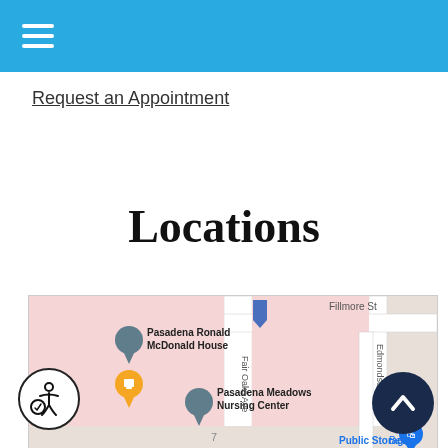☰ (hamburger menu)
Request an Appointment
Locations
[Figure (map): Google Maps view showing Pasadena area. Visible landmarks include Pasadena Ronald McDonald House (gray pin), an orange food/coffee pin, Pasadena Meadows Nursing Center (gray pin), Public Storage, and street labels: Fillmore St, Edmondson Alley, Fair Oaks Ave, Hurlbut St. A blue inverted arrow pin is visible at the top center of the map.]